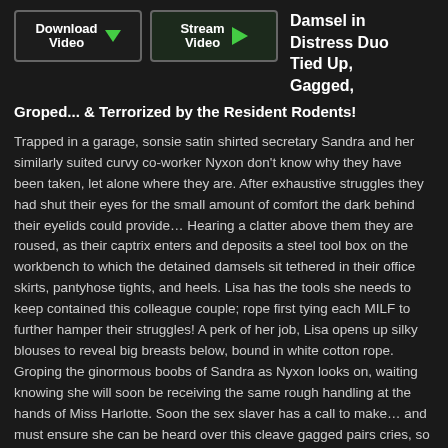[Figure (screenshot): Download Video button with green downward arrow icon]
[Figure (screenshot): Stream Video button with green play button icon]
Damsel in Distress Duo Tied Up, Gagged, Groped... & Terrorized by the Resident Rodents!
Trapped in a garage, sonsie satin shirted secretary Sandra and her similarly suited curvy co-worker Nyxon don't know why they have been taken, let alone where they are. After exhaustive struggles they had shut their eyes for the small amount of comfort the dark behind their eyelids could provide… Hearing a clatter above them they are roused, as their captrix enters and deposits a steel tool box on the workbench to which the detained damsels sit tethered in their office skirts, pantyhose tights, and heels.  Lisa has the tools she needs to keep contained this colleague couple; rope first tying each MILF to further hamper their struggles! A perk of her job, Lisa opens up silky blouses to reveal big breasts below, bound in white cotton rope. Groping the ginormous boobs of Sandra as Nyxon looks on, waiting knowing she will soon be receiving the same rough handling at the hands of Miss Harlotte. Soon the sex slaver has a call to make… and must ensure she can be heard over this cleave gagged pairs cries, so out comes a roll of tape from Lisa's toolbox to trap those bandana gags firmly in place with a wide wrap gag straight over the top. Lisa's done for the day, after calling in a collection